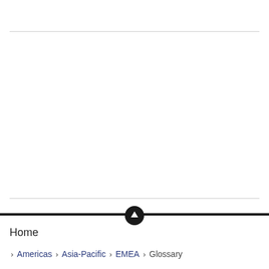Home
>  Americas  >  Asia-Pacific  >  EMEA  >  Glossary